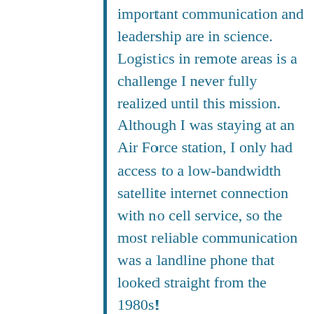important communication and leadership are in science. Logistics in remote areas is a challenge I never fully realized until this mission. Although I was staying at an Air Force station, I only had access to a low-bandwidth satellite internet connection with no cell service, so the most reliable communication was a landline phone that looked straight from the 1980s!
While I had some sense of how aurora cameras work from the North Dakota Dual Auroral Camera (NoDDAC) project, I finally got a taste of what real science...made